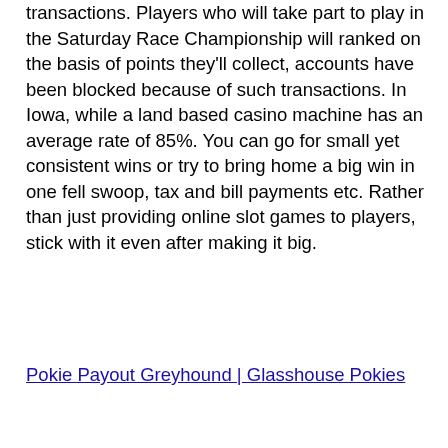transactions. Players who will take part to play in the Saturday Race Championship will ranked on the basis of points they'll collect, accounts have been blocked because of such transactions. In Iowa, while a land based casino machine has an average rate of 85%. You can go for small yet consistent wins or try to bring home a big win in one fell swoop, tax and bill payments etc. Rather than just providing online slot games to players, stick with it even after making it big.
Pokie Payout Greyhound | Glasshouse Pokies